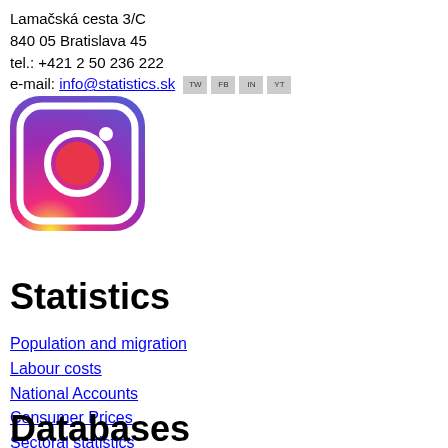Lamačská cesta 3/C
840 05 Bratislava 45
tel.: +421 2 50 236 222
e-mail: info@statistics.sk [TW] [FB] [IN] [YT]
[Figure (logo): Instagram logo — rounded square with gradient background (purple to orange) and white camera icon]
Statistics
Population and migration
Labour costs
National Accounts
Consumer Prices
Sectoral statistics
Databases